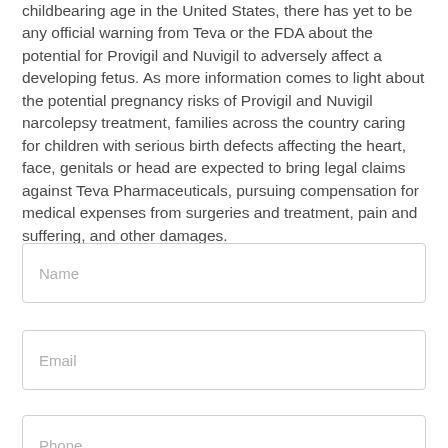childbearing age in the United States, there has yet to be any official warning from Teva or the FDA about the potential for Provigil and Nuvigil to adversely affect a developing fetus. As more information comes to light about the potential pregnancy risks of Provigil and Nuvigil narcolepsy treatment, families across the country caring for children with serious birth defects affecting the heart, face, genitals or head are expected to bring legal claims against Teva Pharmaceuticals, pursuing compensation for medical expenses from surgeries and treatment, pain and suffering, and other damages.
Name
Email
Phone